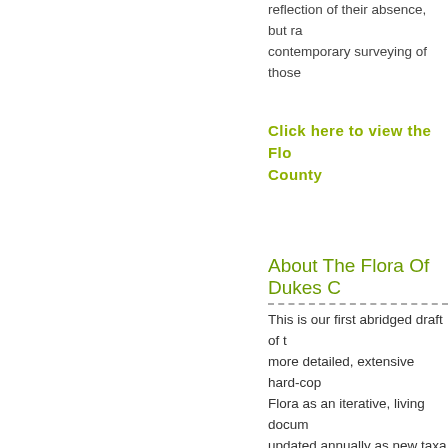reflection of their absence, but rather a reflection of gaps in contemporary surveying of those
Click here to view the Flo... County
About The Flora Of Dukes C...
This is our first abridged draft of t... more detailed, extensive hard-cop... Flora as an iterative, living docum... updated annually as new taxa are... Future iterations of this list will inc... other data.
In 2019, Polly Hill Arboretum's he... through Index Herbariorum, a wo... that coordinates over 3,400 herba... identify our collections in research... lend specimens to collaborating i...